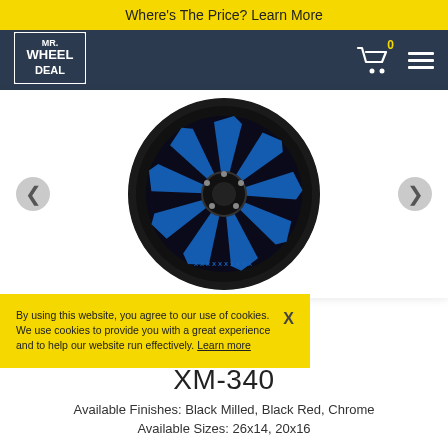Where's The Price? Learn More
[Figure (logo): Mr. Wheel Deal logo in white text on dark navy background]
[Figure (photo): Black and blue custom wheel XM-340, shown from front angle with blue milled spoke accents on black background]
By using this website, you agree to our use of cookies. We use cookies to provide you with a great experience and to help our website run effectively. Learn more
XM-340
Available Finishes: Black Milled, Black Red, Chrome
Available Sizes: 26x14, 20x16